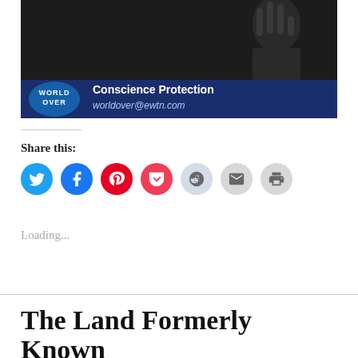[Figure (screenshot): TV screenshot from EWTN World Over program showing 'Conscience Protection' text banner with worldover@ewtn.com email and the World Over logo, dark background with a hand gesture visible at top]
Share this:
[Figure (infographic): Row of social sharing icons: Twitter (blue circle), Facebook (blue circle), Pinterest (red circle), Pocket (red circle), Reddit (light blue circle), Email (gray circle), Print (gray circle)]
Loading...
The Land Formerly Known